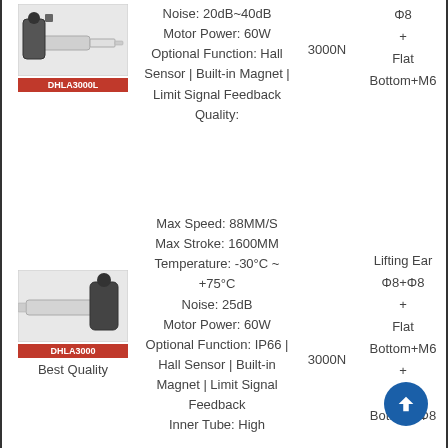[Figure (photo): DHLA3000L linear actuator product image with red label]
Noise: 20dB~40dB
Motor Power: 60W
Optional Function: Hall Sensor | Built-in Magnet | Limit Signal Feedback
Quality:
3000N
Φ8
+
Flat
Bottom+M6
[Figure (photo): DHLA3000 linear actuator product image with red label]
Best Quality
Max Speed: 88MM/S
Max Stroke: 1600MM
Temperature: -30°C ~ +75°C
Noise: 25dB
Motor Power: 60W
Optional Function: IP66 | Hall Sensor | Built-in Magnet | Limit Signal Feedback
Inner Tube: High
3000N
Lifting Ear
Φ8+Φ8
+
Flat
Bottom+M6
+
Flat
Bottom+Φ8